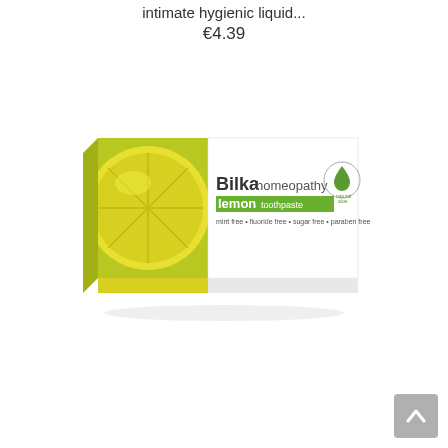intimate hygienic liquid...
€4.39
[Figure (photo): Bilka homeopathy lemon toothpaste box — a rectangular toothpaste box with a yellow-green lemon slice graphic on the left, white background on the right with text: Bilkahomeopathy, lemon toothpaste (green label), mint free • fluoride free • sugar free • paraben free, and a natural aloe drop logo.]
[Figure (other): Grey scroll-to-top button with an upward-pointing chevron arrow, bottom-right corner.]